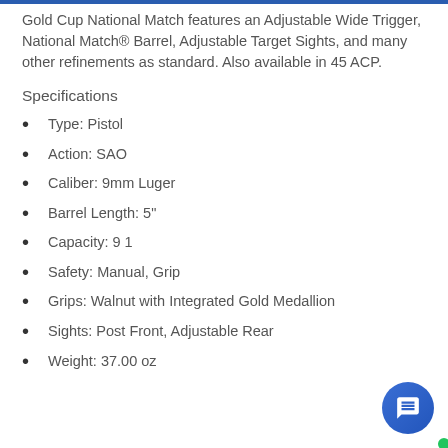Gold Cup National Match features an Adjustable Wide Trigger, National Match® Barrel, Adjustable Target Sights, and many other refinements as standard. Also available in 45 ACP.
Specifications
Type: Pistol
Action: SAO
Caliber: 9mm Luger
Barrel Length: 5"
Capacity: 9 1
Safety: Manual, Grip
Grips: Walnut with Integrated Gold Medallion
Sights: Post Front, Adjustable Rear
Weight: 37.00 oz